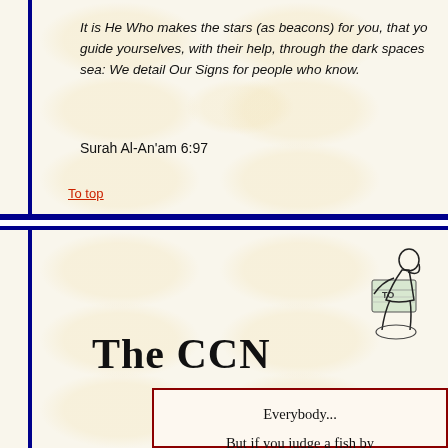It is He Who makes the stars (as beacons) for you, that you guide yourselves, with their help, through the dark spaces of land and sea: We detail Our Signs for people who know.
Surah Al-An'am 6:97
To top
[Figure (illustration): Illustration of The Thinker statue reading a newspaper/document labeled 'TO...']
The CCN
Everybody...
But if you judge a fish by...
it will live its whole life...